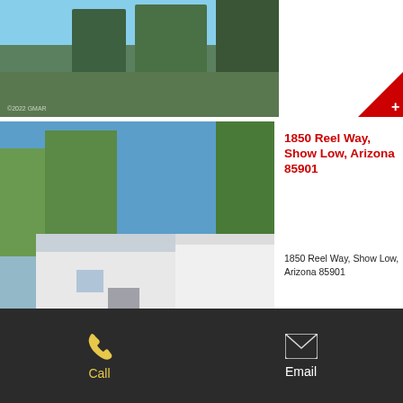[Figure (photo): Top partial property photo showing trees and sky]
[Figure (photo): Main listing photo of 1850 Reel Way property — white manufactured home with attached structure, green trees, blue sky, car in driveway, timestamp 06/02/2022]
1850 Reel Way, Show Low, Arizona 85901
1850 Reel Way, Show Low, Arizona 85901
$110,000
Call   Email